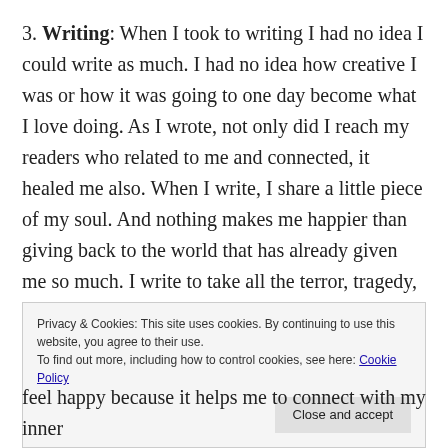3. Writing: When I took to writing I had no idea I could write as much. I had no idea how creative I was or how it was going to one day become what I love doing. As I wrote, not only did I reach my readers who related to me and connected, it healed me also. When I write, I share a little piece of my soul. And nothing makes me happier than giving back to the world that has already given me so much. I write to take all the terror, tragedy, comedy and banality of life and wrestle it into something I can understand. Writing is a wonderful way
Privacy & Cookies: This site uses cookies. By continuing to use this website, you agree to their use.
To find out more, including how to control cookies, see here: Cookie Policy
feel happy because it helps me to connect with my inner